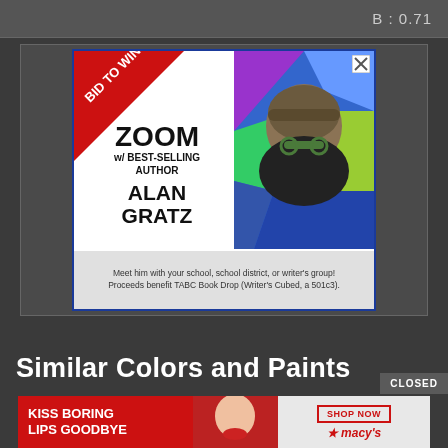B : 0.71
[Figure (advertisement): Advertisement: Bid to Win Zoom with best-selling author Alan Gratz. Meet him with your school, school district, or writer's group! Proceeds benefit TABC Book Drop (Writer's Cubed, a 501c3).]
Similar Colors and Paints
[Figure (advertisement): Macy's advertisement: Kiss Boring Lips Goodbye. Shop Now.]